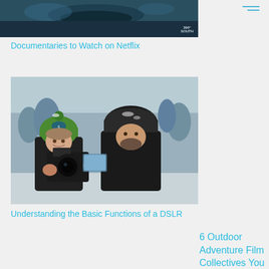[Figure (photo): Top banner image showing dark underwater or nature scene with '360 SOUTH' badge in corner]
Documentaries to Watch on Netflix
[Figure (photo): Two people in winter clothing looking at a camera screen in snowy outdoor setting. Person on left wears green Seahawks beanie, person on right wears dark fur hat.]
Understanding the Basic Functions of a DSLR
[Figure (photo): Movie poster for 'Pretty Strong' - a film by Never Not Collective, showing rock climbing imagery with bold white stylized text]
6 Outdoor Adventure Film Collectives You Need to